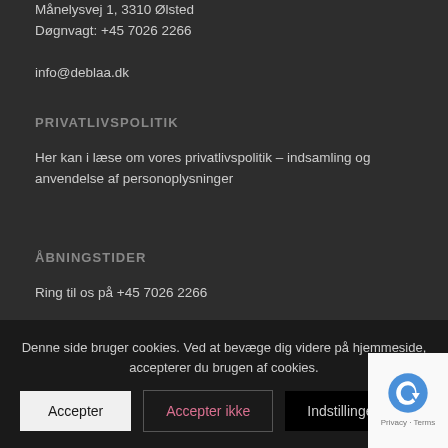Månelysvej 1, 3310 Ølsted
Døgnvagt: +45 7026 2266

info@deblaa.dk
PRIVATLIVSPOLITIK
Her kan i læse om vores privatlivspolitik – indsamling og anvendelse af personoplysninger
ÅBNINGSTIDER
Ring til os på +45 7026 2266
Mandag-Fredag: 08:00-16:00
Døgnvagt ved akut behov
Denne side bruger cookies. Ved at bevæge dig videre på hjemmeside, accepterer du brugen af cookies.